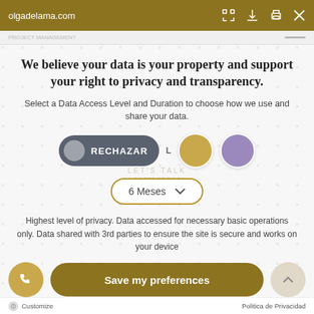olgadelama.com
We believe your data is your property and support your right to privacy and transparency.
Select a Data Access Level and Duration to choose how we use and share your data.
[Figure (screenshot): Cookie consent dialog with RECHAZAR (reject) button toggle, and two colored circles (gold and purple) for different consent levels]
6 Meses
Highest level of privacy. Data accessed for necessary basic operations only. Data shared with 3rd parties to ensure the site is secure and works on your device
Save my preferences
Customize
Politica de Privacidad